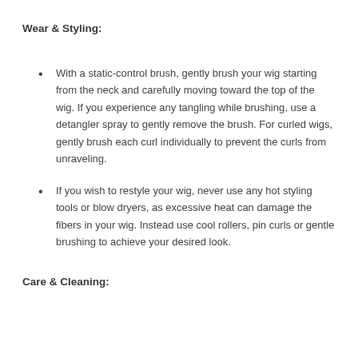Wear & Styling:
With a static-control brush, gently brush your wig starting from the neck and carefully moving toward the top of the wig. If you experience any tangling while brushing, use a detangler spray to gently remove the brush. For curled wigs, gently brush each curl individually to prevent the curls from unraveling.
If you wish to restyle your wig, never use any hot styling tools or blow dryers, as excessive heat can damage the fibers in your wig. Instead use cool rollers, pin curls or gentle brushing to achieve your desired look.
Care & Cleaning: